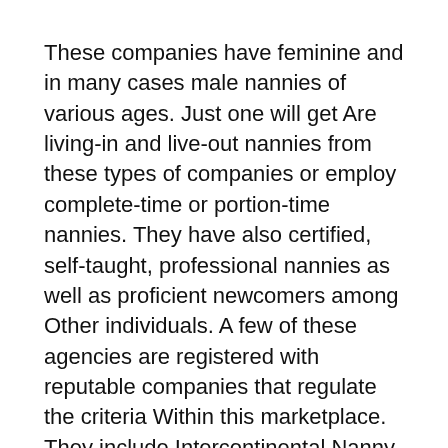These companies have feminine and in many cases male nannies of various ages. Just one will get Are living-in and live-out nannies from these types of companies or employ complete-time or portion-time nannies. They have also certified, self-taught, professional nannies as well as proficient newcomers among Other individuals. A few of these agencies are registered with reputable companies that regulate the criteria Within this marketplace. They include Intercontinental Nanny Association amongst Some others.
These position businesses assistance the potential employer in various approaches. They avail the profiles of various nannies to